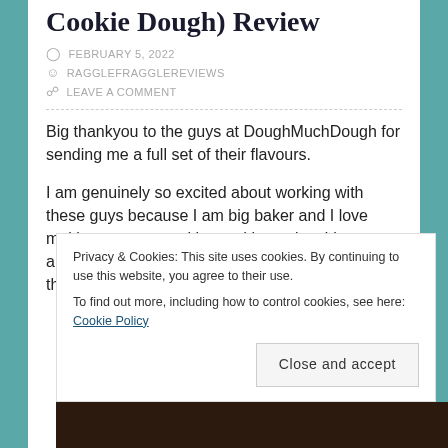Cookie Dough) Review
FEBRUARY 5, 2022
RAGGLEFRAGGLEREVIEWS
LEAVE A COMMENT
Big thankyou to the guys at DoughMuchDough for sending me a full set of their flavours.
I am genuinely so excited about working with these guys because I am big baker and I love making my own cookies and brownies. I have always found that the batter always tastes better than the final product
Privacy & Cookies: This site uses cookies. By continuing to use this website, you agree to their use.
To find out more, including how to control cookies, see here: Cookie Policy
Close and accept